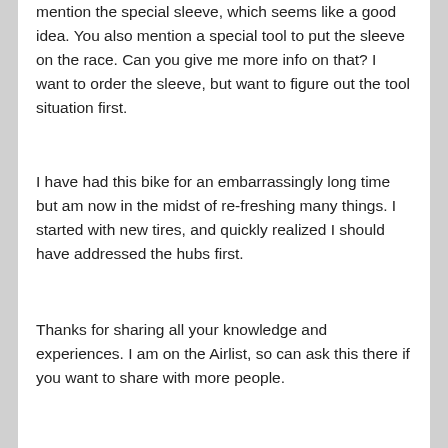mention the special sleeve, which seems like a good idea. You also mention a special tool to put the sleeve on the race. Can you give me more info on that? I want to order the sleeve, but want to figure out the tool situation first.
I have had this bike for an embarrassingly long time but am now in the midst of re-freshing many things. I started with new tires, and quickly realized I should have addressed the hubs first.
Thanks for sharing all your knowledge and experiences. I am on the Airlist, so can ask this there if you want to share with more people.
Reply ↓
breams on January 27, 2020 at 9:17 am said: